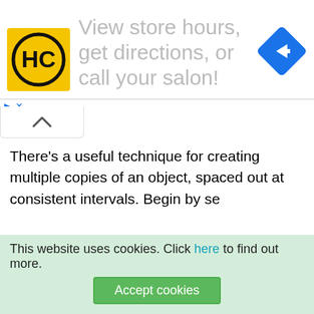[Figure (screenshot): Ad banner with HC logo (yellow square with black HC letters in circle), large grey text 'View store hours, get directions, or call your salon!', and a blue diamond navigation icon on the right]
[Figure (screenshot): Small play and close (X) button controls below the ad banner]
[Figure (screenshot): Collapse/chevron up button (caret) in a rounded rectangle tab]
There's a useful technique for creating multiple copies of an object, spaced out at consistent intervals. Begin by se... du...
[Figure (screenshot): Circular scroll-to-top button with chevron up icon]
This website uses cookies. Click here to find out more.
Accept cookies